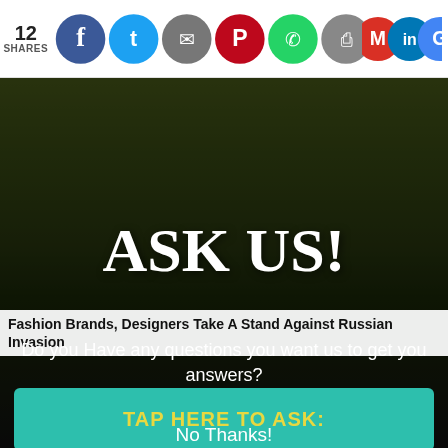12 SHARES
[Figure (screenshot): Social share icons: Facebook, Twitter, Messenger, Pinterest, WhatsApp, Print, Gmail, LinkedIn, Google]
[Figure (photo): Dark background photo of people, overlaid with ASK US! popup]
ASK US!
Fashion Brands, Designers Take A Stand Against Russian Invasion
Do you Have any questions you want us to get you answers?
TAP HERE TO ASK:
No Thanks!